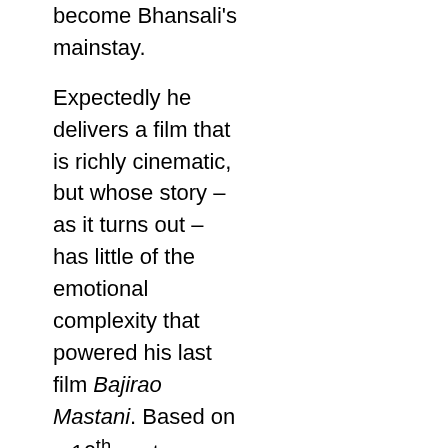become Bhansali's mainstay. Expectedly he delivers a film that is richly cinematic, but whose story – as it turns out – has little of the emotional complexity that powered his last film Bajirao Mastani. Based on a 16th century poem of the same name by Sufi poet Malik Muhammad Jayasi, Padmaavat is a pretty straightforward tale of a ruthless man's obsession with beauty it